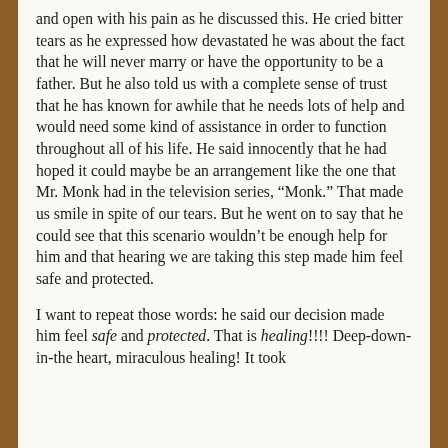and open with his pain as he discussed this. He cried bitter tears as he expressed how devastated he was about the fact that he will never marry or have the opportunity to be a father. But he also told us with a complete sense of trust that he has known for awhile that he needs lots of help and would need some kind of assistance in order to function throughout all of his life. He said innocently that he had hoped it could maybe be an arrangement like the one that Mr. Monk had in the television series, “Monk.” That made us smile in spite of our tears. But he went on to say that he could see that this scenario wouldn’t be enough help for him and that hearing we are taking this step made him feel safe and protected.
I want to repeat those words: he said our decision made him feel safe and protected. That is healing!!!! Deep-down-in-the heart, miraculous healing! It took